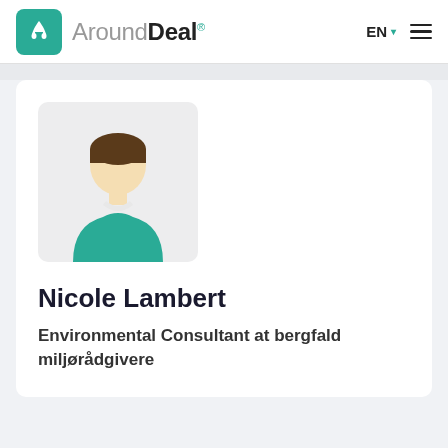AroundDeal® EN ▾ ≡
[Figure (illustration): Generic person silhouette avatar — a figure with a round head (light skin tone), brown hair, and teal/green shirt, displayed on a light gray rounded square background.]
Nicole Lambert
Environmental Consultant at bergfald miljørådgivere